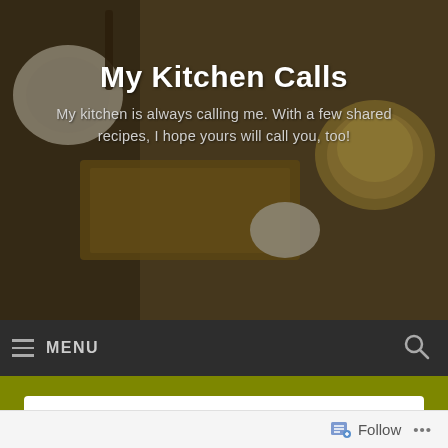[Figure (photo): Kitchen background photo with tea/coffee cups and cutting board, dark amber overlay tones]
My Kitchen Calls
My kitchen is always calling me. With a few shared recipes, I hope yours will call you, too!
≡ MENU
Homemade Almond Butter
[Figure (photo): Two side-by-side food photos: left shows raw almonds, right shows ground almond butter or granola mixture]